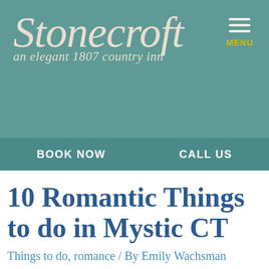[Figure (logo): Stonecroft logo – stylized italic text reading 'Stonecroft' with tagline 'an elegant 1807 country inn' on teal background, with hamburger menu icon and 'MENU' label at top right]
BOOK NOW   CALL US
10 Romantic Things to do in Mystic CT
Things to do, romance / By Emily Wachsman
As we embrace love and romance throughout the month of February, we thought it'd be nice to talk about all of the romantic things to do in Mystic CT. Soon enough, signs of spring will be popping up in the gardens around